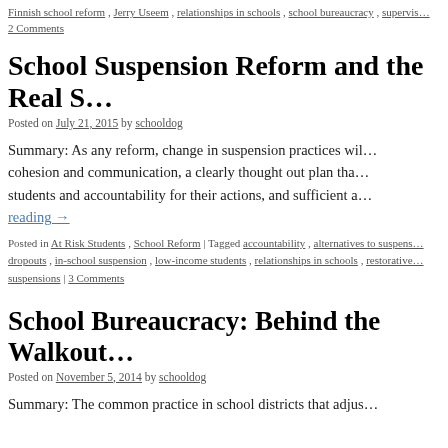Finnish school reform , Jerry Useem , relationships in schools , school bureaucracy , supervis… 2 Comments
School Suspension Reform and the Real S…
Posted on July 21, 2015 by schooldog
Summary: As any reform, change in suspension practices will… cohesion and communication, a clearly thought out plan tha… students and accountability for their actions, and sufficient a… reading →
Posted in At Risk Students , School Reform | Tagged accountability , alternatives to suspens… dropouts , in-school suspension , low-income students , relationships in schools , restorative… suspensions | 3 Comments
School Bureaucracy: Behind the Walkout…
Posted on November 5, 2014 by schooldog
Summary: The common practice in school districts that adjus…